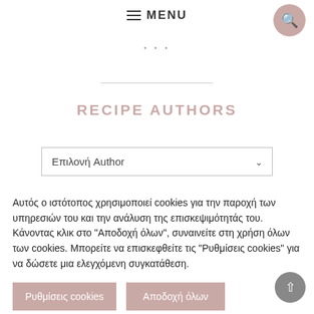MENU
RECIPE AUTHORS
Επιλονή Author
Αυτός ο ιστότοπος χρησιμοποιεί cookies για την παροχή των υπηρεσιών του και την ανάλυση της επισκεψιμότητάς του. Κάνοντας κλικ στο "Αποδοχή όλων", συναινείτε στη χρήση όλων των cookies. Μπορείτε να επισκεφθείτε τις "Ρυθμίσεις cookies" για να δώσετε μια ελεγχόμενη συγκατάθεση.
Ρυθμίσεις cookies
Αποδοχή όλων